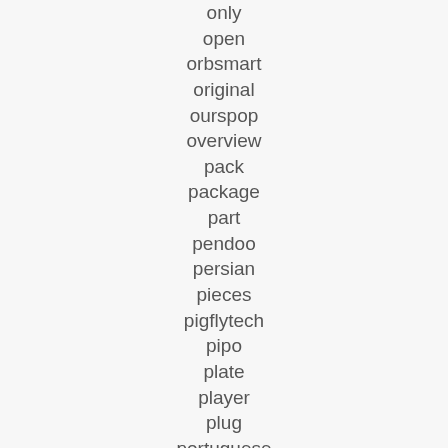only
open
orbsmart
original
ourspop
overview
pack
package
part
pendoo
persian
pieces
pigflytech
pipo
plate
player
plug
portuguese
powered
powerful
premium